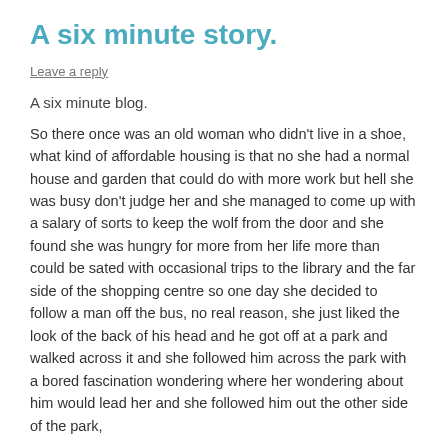A six minute story.
Leave a reply
A six minute blog.
So there once was an old woman who didn't live in a shoe, what kind of affordable housing is that no she had a normal house and garden that could do with more work but hell she was busy don't judge her and she managed to come up with a salary of sorts to keep the wolf from the door and she found she was hungry for more from her life more than could be sated with occasional trips to the library and the far side of the shopping centre so one day she decided to follow a man off the bus, no real reason, she just liked the look of the back of his head and he got off at a park and walked across it and she followed him across the park with a bored fascination wondering where her wondering about him would lead her and she followed him out the other side of the park,